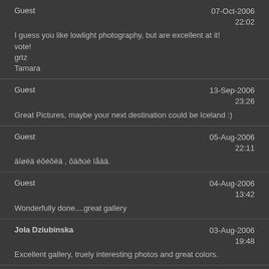Guest | 07-Oct-2006 22:02 | I guess you like lowlight photography, but are excellent at it!
vote!
grtz
Tamara
Guest | 13-Sep-2006 23:26 | Great Pictures, maybe your next destination could be Iceland :)
Guest | 05-Aug-2006 22:11 | āīøëä éõéõëä , õäðúé īåää.
Guest | 04-Aug-2006 13:42 | Wonderfully done....great gallery
Jola Dziubinska | 03-Aug-2006 19:48 | Excellent gallery, truely interesting photos and great colors.
Bill Harris | 19-Jul-2006 17:09 | Superb gallery with a couple of outstanding shots. V.
arminb | 23-Jun-2006 18:54 | compo - light - technique - would be nothing, if it wouldn't be for